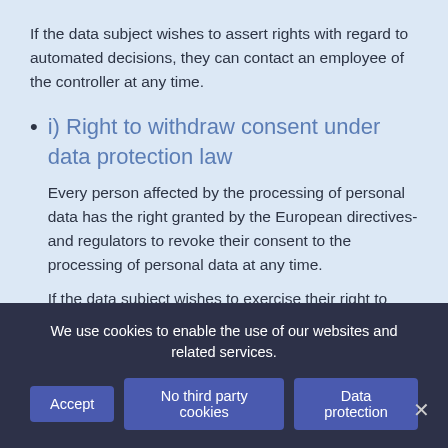If the data subject wishes to assert rights with regard to automated decisions, they can contact an employee of the controller at any time.
i) Right to withdraw consent under data protection law
Every person affected by the processing of personal data has the right granted by the European directives- and regulators to revoke their consent to the processing of personal data at any time.
If the data subject wishes to exercise their right to
We use cookies to enable the use of our websites and related services.
Accept | No third party cookies | Data protection